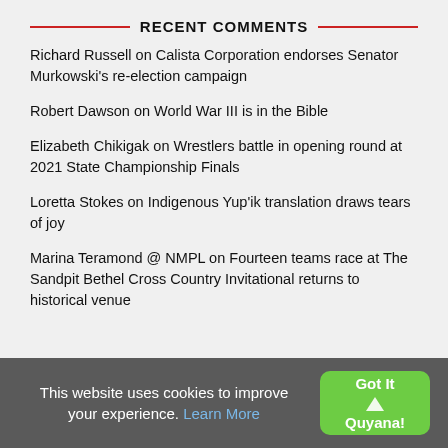RECENT COMMENTS
Richard Russell on Calista Corporation endorses Senator Murkowski's re-election campaign
Robert Dawson on World War III is in the Bible
Elizabeth Chikigak on Wrestlers battle in opening round at 2021 State Championship Finals
Loretta Stokes on Indigenous Yup'ik translation draws tears of joy
Marina Teramond @ NMPL on Fourteen teams race at The Sandpit Bethel Cross Country Invitational returns to historical venue
This website uses cookies to improve your experience. Learn More  Got It Quyana!